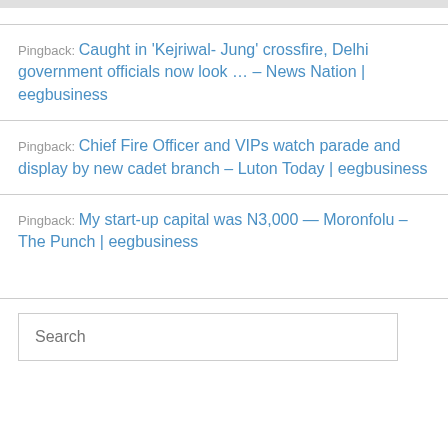Pingback: Caught in 'Kejriwal- Jung' crossfire, Delhi government officials now look … – News Nation | eegbusiness
Pingback: Chief Fire Officer and VIPs watch parade and display by new cadet branch – Luton Today | eegbusiness
Pingback: My start-up capital was N3,000 — Moronfolu – The Punch | eegbusiness